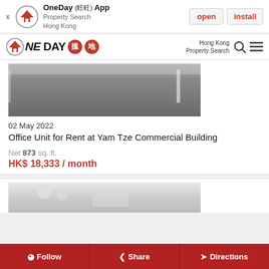OneDay (旺) App Property Search Hong Kong – open | install
OneDay 搵地 – Hong Kong Property Search
[Figure (photo): Interior photo of an empty office room with grey carpet and white walls]
02 May 2022
Office Unit for Rent at Yam Tze Commercial Building
Net 873 sq. ft.
HK$ 18,333 / month
[Figure (photo): Interior photo of a bright room with white furnishings, partially visible at the bottom of the page]
Follow | Share | Directions